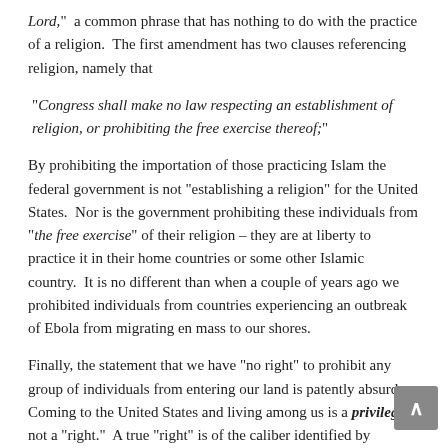Lord,”  a common phrase that has nothing to do with the practice of a religion.  The first amendment has two clauses referencing religion, namely that
“Congress shall make no law respecting an establishment of religion, or prohibiting the free exercise thereof;”
By prohibiting the importation of those practicing Islam the federal government is not “establishing a religion” for the United States.  Nor is the government prohibiting these individuals from “the free exercise” of their religion – they are at liberty to practice it in their home countries or some other Islamic country.  It is no different than when a couple of years ago we prohibited individuals from countries experiencing an outbreak of Ebola from migrating en mass to our shores.
Finally, the statement that we have “no right” to prohibit any group of individuals from entering our land is patently absurd.  Coming to the United States and living among us is a privilege, not a “right.”  A true “right” is of the caliber identified by Jefferson in our Declaration of Independence, i.e.  one that